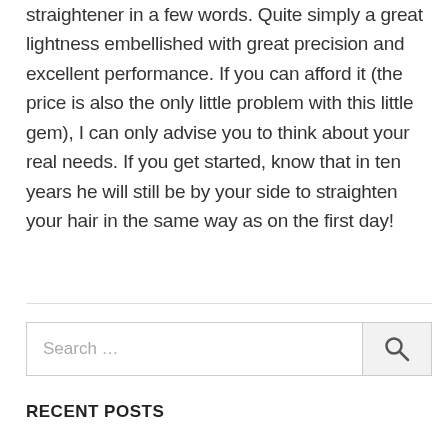straightener in a few words. Quite simply a great lightness embellished with great precision and excellent performance. If you can afford it (the price is also the only little problem with this little gem), I can only advise you to think about your real needs. If you get started, know that in ten years he will still be by your side to straighten your hair in the same way as on the first day!
Search ...
RECENT POSTS